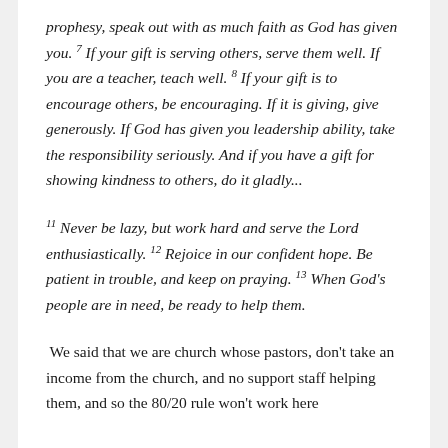prophesy, speak out with as much faith as God has given you. 7 If your gift is serving others, serve them well. If you are a teacher, teach well. 8 If your gift is to encourage others, be encouraging. If it is giving, give generously. If God has given you leadership ability, take the responsibility seriously. And if you have a gift for showing kindness to others, do it gladly...
11 Never be lazy, but work hard and serve the Lord enthusiastically. 12 Rejoice in our confident hope. Be patient in trouble, and keep on praying. 13 When God's people are in need, be ready to help them.
We said that we are church whose pastors, don't take an income from the church, and no support staff helping them, and so the 80/20 rule won't work here